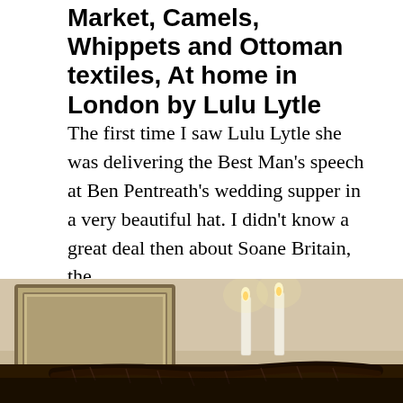Market, Camels, Whippets and Ottoman textiles, At home in London by Lulu Lytle
The first time I saw Lulu Lytle she was delivering the Best Man's speech at Ben Pentreath's wedding supper in a very beautiful hat. I didn't know a great deal then about Soane Britain, the ...
26 May 2020  2 reads
[Figure (photo): Interior scene with candles lit on a dark wooden surface, with a picture frame on the wall behind and warm ambient lighting.]